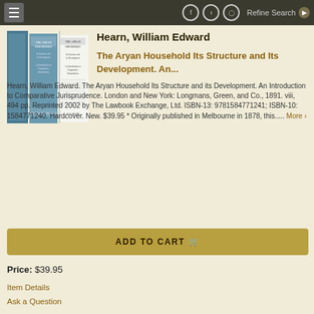Refine Search
Hearn, William Edward
The Aryan Household Its Structure and Its Development. An...
Hearn, William Edward. The Aryan Household Its Structure and its Development. An Introduction to Comparative Jurisprudence. London and New York: Longmans, Green, and Co., 1891. viii, 494 pp. Reprinted 2002 by The Lawbook Exchange, Ltd. ISBN-13: 9781584771241; ISBN-10: 1584771240. Hardcover. New. $39.95 * Originally published in Melbourne in 1878, this..... More >
ADD TO CART
Price: $39.95
Item Details
Ask a Question